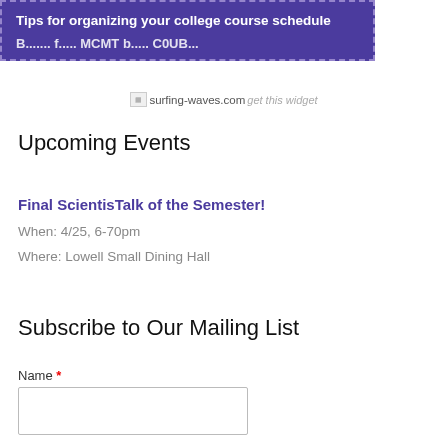[Figure (screenshot): Purple banner with dashed border showing 'Tips for organizing your college course schedule' and partial text below]
surfing-waves.com get this widget
Upcoming Events
Final ScientisTalk of the Semester!
When: 4/25, 6-70pm
Where: Lowell Small Dining Hall
Subscribe to Our Mailing List
Name *